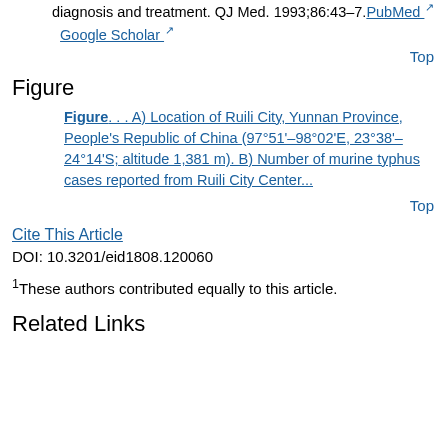diagnosis and treatment. QJ Med. 1993;86:43–7. PubMed  Google Scholar
Top
Figure
Figure. . . A) Location of Ruili City, Yunnan Province, People's Republic of China (97°51'–98°02'E, 23°38'–24°14'S; altitude 1,381 m). B) Number of murine typhus cases reported from Ruili City Center...
Top
Cite This Article
DOI: 10.3201/eid1808.120060
1These authors contributed equally to this article.
Related Links